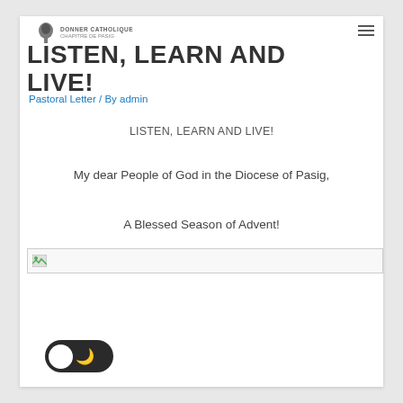DONNER CATHOLIQUE CHAPITRE DE PASIG — logo and navigation header
LISTEN, LEARN AND LIVE!
Pastoral Letter / By admin
LISTEN, LEARN AND LIVE!
My dear People of God in the Diocese of Pasig,
A Blessed Season of Advent!
[Figure (photo): Broken image placeholder icon at the top of an article image]
[Figure (other): Dark mode toggle button — pill-shaped dark background with white circle on left and moon icon on right]